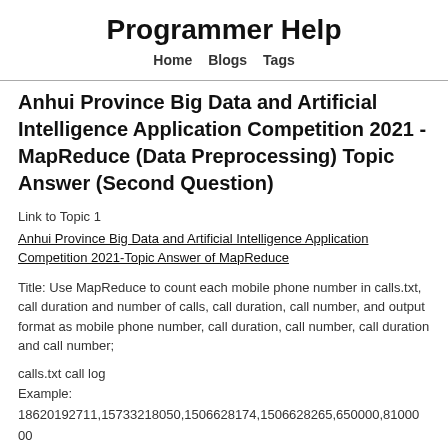Programmer Help
Home  Blogs  Tags
Anhui Province Big Data and Artificial Intelligence Application Competition 2021 - MapReduce (Data Preprocessing) Topic Answer (Second Question)
Link to Topic 1
Anhui Province Big Data and Artificial Intelligence Application Competition 2021-Topic Answer of MapReduce
Title: Use MapReduce to count each mobile phone number in calls.txt, call duration and number of calls, call duration, call number, and output format as mobile phone number, call duration, call number, call duration and call number;
calls.txt call log
Example:
18620192711,15733218050,1506628174,1506628265,650000,810000